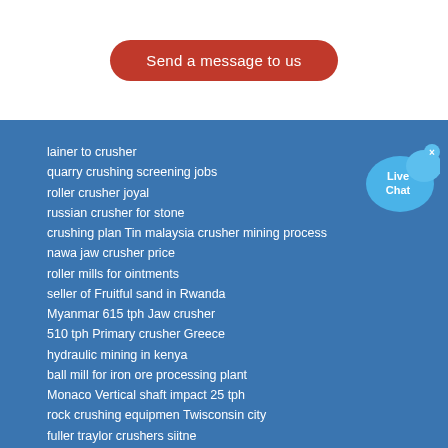[Figure (other): Red rounded-rectangle button labeled 'Send a message to us']
lainer to crusher
quarry crushing screening jobs
roller crusher joyal
russian crusher for stone
crushing plan Tin malaysia crusher mining process
nawa jaw crusher price
roller mills for ointments
seller of Fruitful sand in Rwanda
Myanmar 615 tph Jaw crusher
510 tph Primary crusher Greece
hydraulic mining in kenya
ball mill for iron ore processing plant
Monaco Vertical shaft impact 25 tph
rock crushing equipmen Twisconsin city
fuller traylor crushers siitne
Nicaragua Mining crusher 305 tph